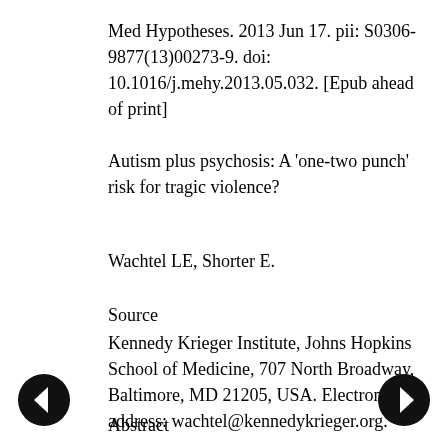Med Hypotheses. 2013 Jun 17. pii: S0306-9877(13)00273-9. doi: 10.1016/j.mehy.2013.05.032. [Epub ahead of print]
Autism plus psychosis: A 'one-two punch' risk for tragic violence?
Wachtel LE, Shorter E.
Source
Kennedy Krieger Institute, Johns Hopkins School of Medicine, 707 North Broadway, Baltimore, MD 21205, USA. Electronic address: wachtel@kennedykrieger.org.
Abstract